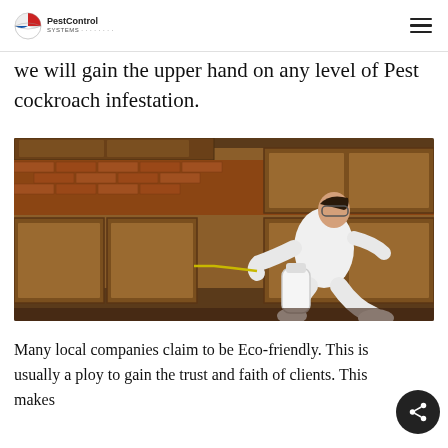PestControl
we will gain the upper hand on any level of Pest cockroach infestation.
[Figure (photo): A pest control worker in a white protective suit kneeling on the floor of a kitchen with wooden cabinets and brick backsplash, using a sprayer to treat under the cabinets.]
Many local companies claim to be Eco-friendly. This is usually a ploy to gain the trust and faith of clients. This makes